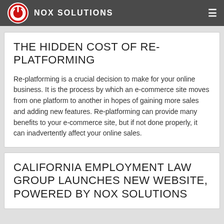NOX SOLUTIONS
THE HIDDEN COST OF RE-PLATFORMING
Re-platforming is a crucial decision to make for your online business. It is the process by which an e-commerce site moves from one platform to another in hopes of gaining more sales and adding new features. Re-platforming can provide many benefits to your e-commerce site, but if not done properly, it can inadvertently affect your online sales.
CALIFORNIA EMPLOYMENT LAW GROUP LAUNCHES NEW WEBSITE, POWERED BY NOX SOLUTIONS